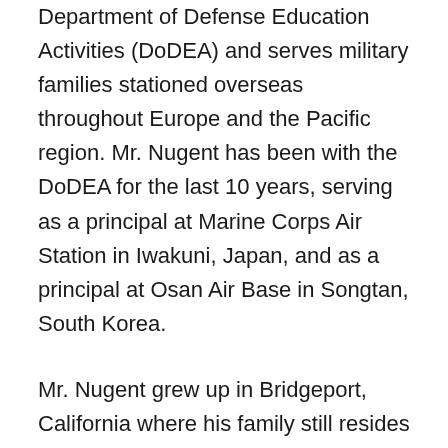Department of Defense Education Activities (DoDEA) and serves military families stationed overseas throughout Europe and the Pacific region. Mr. Nugent has been with the DoDEA for the last 10 years, serving as a principal at Marine Corps Air Station in Iwakuni, Japan, and as a principal at Osan Air Base in Songtan, South Korea.
Mr. Nugent grew up in Bridgeport, California where his family still resides and stated, “It has been an honor to serve the military members and their families